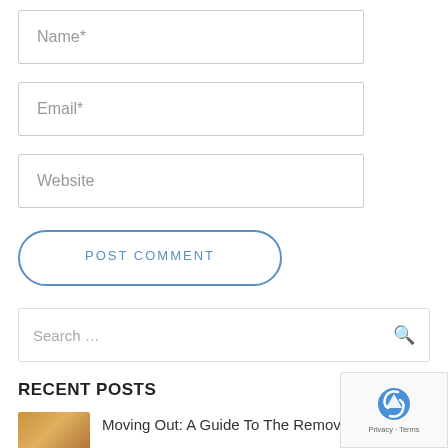Name*
Email*
Website
POST COMMENT
Search …
RECENT POSTS
Moving Out: A Guide To The Remova...